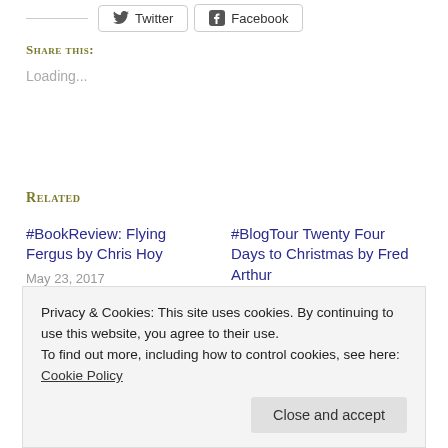Twitter  Facebook
Share this:
Loading...
Related
#BookReview: Flying Fergus by Chris Hoy
May 23, 2017
In "Childrens"
#BlogTour Twenty Four Days to Christmas by Fred Arthur
November 19, 2016
In "Guest posts"
#BookReview The
Privacy & Cookies: This site uses cookies. By continuing to use this website, you agree to their use.
To find out more, including how to control cookies, see here: Cookie Policy
Close and accept